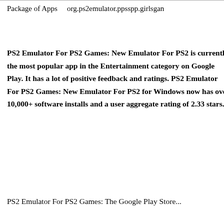| Package of Apps | org.ps2emulator.ppsspp.girlsgam... |
| --- | --- |
PS2 Emulator For PS2 Games: New Emulator For PS2 is currently the most popular app in the Entertainment category on Google Play. It has a lot of positive feedback and ratings. PS2 Emulator For PS2 Games: New Emulator For PS2 for Windows now has over 10,000+ software installs and a user aggregate rating of 2.33 stars.
PS2 Emulator For PS2 Games: The Google Play Store...